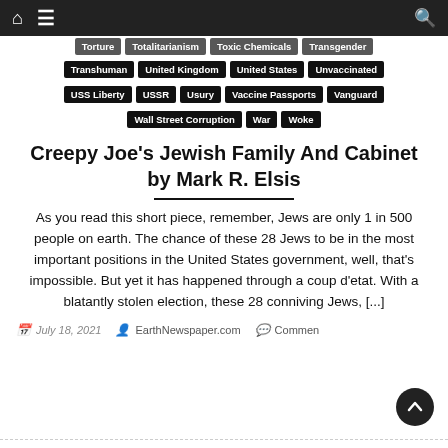Navigation bar with home, menu, and search icons
Torture | Totalitarianism | Toxic Chemicals | Transgender
Transhuman | United Kingdom | United States | Unvaccinated
USS Liberty | USSR | Usury | Vaccine Passports | Vanguard
Wall Street Corruption | War | Woke
Creepy Joe's Jewish Family And Cabinet by Mark R. Elsis
As you read this short piece, remember, Jews are only 1 in 500 people on earth. The chance of these 28 Jews to be in the most important positions in the United States government, well, that's impossible. But yet it has happened through a coup d'etat. With a blatantly stolen election, these 28 conniving Jews, [...]
July 18, 2021 | EarthNewspaper.com | Comments